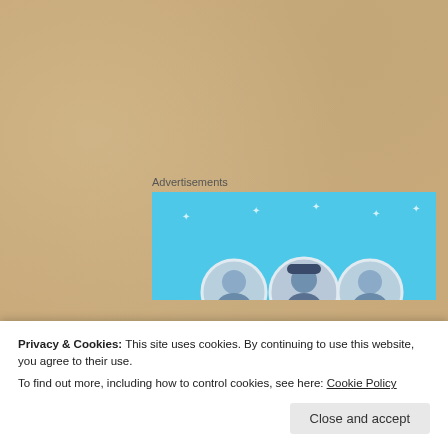[Figure (illustration): Sandy beach background texture covering the full page]
Advertisements
[Figure (screenshot): Blue advertisement banner with circular avatar icons partially visible at the bottom, with small white star/sparkle decorations on the blue background]
Father God, help us stay ready, protect us from the temptation of greed and idolatry and shortsightedness, Help us endure until the end. We don't understand your message or your timing, but we know that the world is in your hands and we ask that you grant us the faith in
Privacy & Cookies: This site uses cookies. By continuing to use this website, you agree to their use.
To find out more, including how to control cookies, see here: Cookie Policy
Close and accept